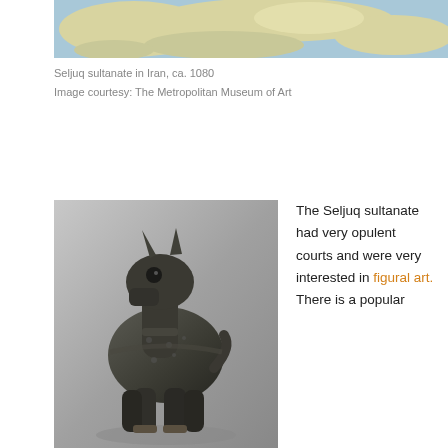[Figure (map): Partial map showing the Seljuq sultanate in Iran, ca. 1080 — a beige/green landmass with blue ocean areas visible]
Seljuq sultanate in Iran, ca. 1080
Image courtesy: The Metropolitan Museum of Art
[Figure (photo): Bronze figural sculpture of a dog or canine animal, highly decorated with incised patterns and textured surface, standing on four legs with ears raised, depicted against a grey studio background. From the Metropolitan Museum of Art.]
The Seljuq sultanate had very opulent courts and were very interested in figural art. There is a popular